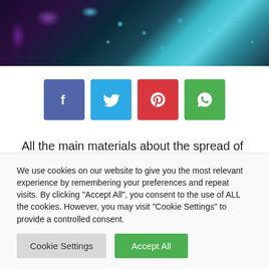[Figure (photo): Microscopic image of coronavirus/bacteria cells with purple and teal/blue coloring against a dark background]
[Figure (infographic): Social sharing buttons: Facebook (blue), Twitter (light blue), Pinterest (red), WhatsApp (green)]
All the main materials about the spread of coronavirus infection of the new type in the world.
the Main news about the coronavirus, and operational data
We use cookies on our website to give you the most relevant experience by remembering your preferences and repeat visits. By clicking "Accept All", you consent to the use of ALL the cookies. However, you may visit "Cookie Settings" to provide a controlled consent.